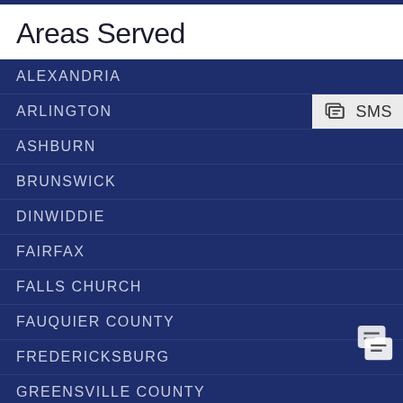Areas Served
ALEXANDRIA
ARLINGTON
ASHBURN
BRUNSWICK
DINWIDDIE
FAIRFAX
FALLS CHURCH
FAUQUIER COUNTY
FREDERICKSBURG
GREENSVILLE COUNTY